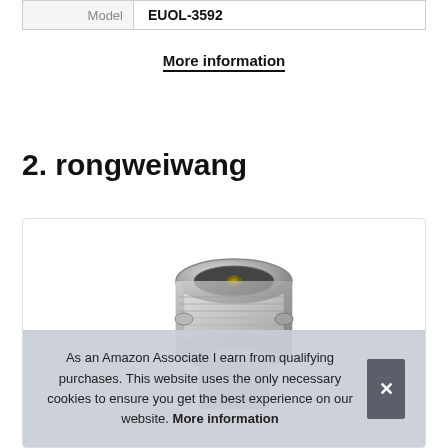|  |  |
| --- | --- |
| Model | EUOL-3592 |
More information
2. rongweiwang
[Figure (photo): Photo of a BNC female connector, silver/chrome metal, angled view showing the circular opening and locking ring, partially cropped at bottom.]
As an Amazon Associate I earn from qualifying purchases. This website uses the only necessary cookies to ensure you get the best experience on our website. More information